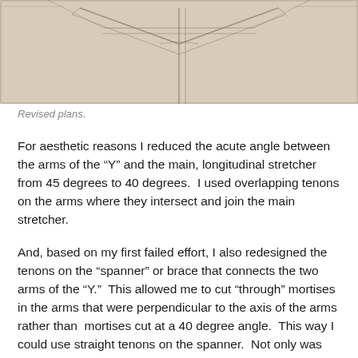[Figure (photo): Pencil sketch drawing of revised plans showing Y-shaped stretcher design with arms and longitudinal stretcher, drawn on paper]
Revised plans.
For aesthetic reasons I reduced the acute angle between the arms of the “Y” and the main, longitudinal stretcher from 45 degrees to 40 degrees.  I used overlapping tenons on the arms where they intersect and join the main stretcher.
And, based on my first failed effort, I also redesigned the tenons on the “spanner” or brace that connects the two arms of the “Y.”  This allowed me to cut “through” mortises in the arms that were perpendicular to the axis of the arms rather than  mortises cut at a 40 degree angle.  This way I could use straight tenons on the spanner.  Not only was this redesign equally strong, it was much easier to cut the mortises. The following series of photos illustrate my approach.  [Click on any image to enlarge. All photos © Max Vollmer]